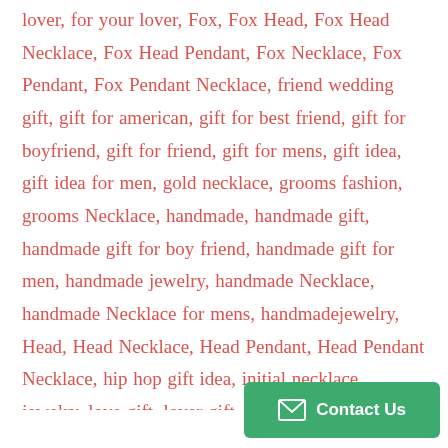lover, for your lover, Fox, Fox Head, Fox Head Necklace, Fox Head Pendant, Fox Necklace, Fox Pendant, Fox Pendant Necklace, friend wedding gift, gift for american, gift for best friend, gift for boyfriend, gift for friend, gift for mens, gift idea, gift idea for men, gold necklace, grooms fashion, grooms Necklace, handmade, handmade gift, handmade gift for boy friend, handmade gift for men, handmade jewelry, handmade Necklace, handmade Necklace for mens, handmadejewelry, Head, Head Necklace, Head Pendant, Head Pendant Necklace, hip hop gift idea, initial necklace, jewelry, love gift, lover gift, luxuryfashion, men and women gift, menfashion, mens designer Necklace, mens jewelry Necklace, mens necklaces, mensfashion, mensjewelry, mensstyle, Necklace, Necklace for boyfriend, Necklace for husband, Necklace for...
[Figure (other): Green 'Contact Us' button with envelope icon in bottom-right corner]